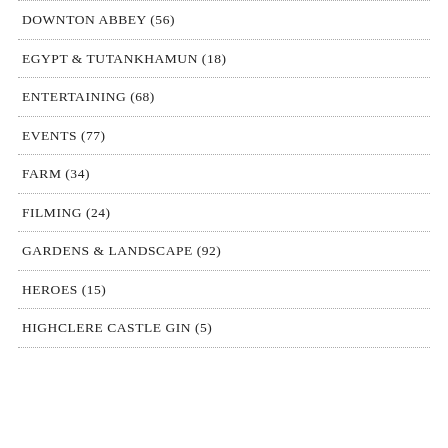DOWNTON ABBEY (56)
EGYPT & TUTANKHAMUN (18)
ENTERTAINING (68)
EVENTS (77)
FARM (34)
FILMING (24)
GARDENS & LANDSCAPE (92)
HEROES (15)
HIGHCLERE CASTLE GIN (5)